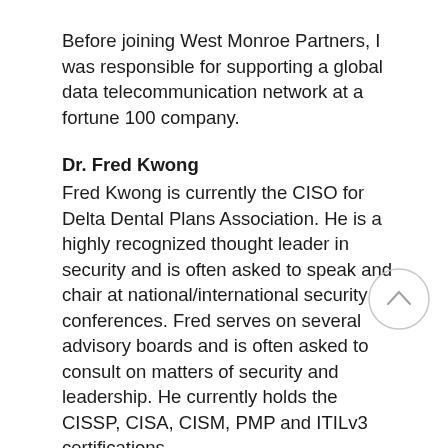Before joining West Monroe Partners, I was responsible for supporting a global data telecommunication network at a fortune 100 company.
Dr. Fred Kwong
Fred Kwong is currently the CISO for Delta Dental Plans Association. He is a highly recognized thought leader in security and is often asked to speak and chair at national/international security conferences. Fred serves on several advisory boards and is often asked to consult on matters of security and leadership. He currently holds the CISSP, CISA, CISM, PMP and ITILv3 certifications.